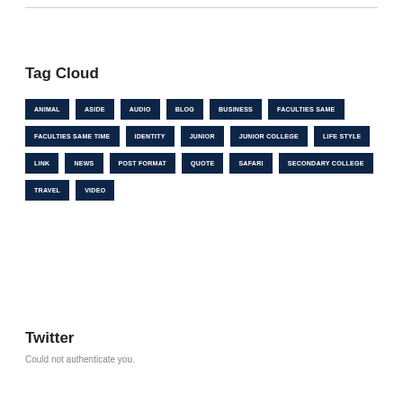Tag Cloud
ANIMAL
ASIDE
AUDIO
BLOG
BUSINESS
FACULTIES SAME
FACULTIES SAME TIME
IDENTITY
JUNIOR
JUNIOR COLLEGE
LIFE STYLE
LINK
NEWS
POST FORMAT
QUOTE
SAFARI
SECONDARY COLLEGE
TRAVEL
VIDEO
Twitter
Could not authenticate you.